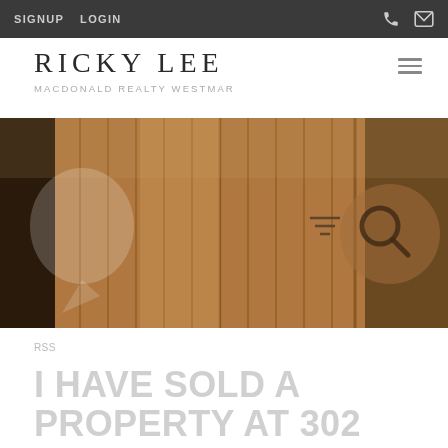SIGNUP  LOGIN
RICKY LEE
MACDONALD REALTY WESTMAR
[Figure (photo): Interior photo showing wooden paneled walls and door with warm brown tones, overlaid with semi-transparent circle UI elements and a search icon]
RSS
I HAVE SOLD A PROPERTY AT 302 6820 RUMBLE ST IN